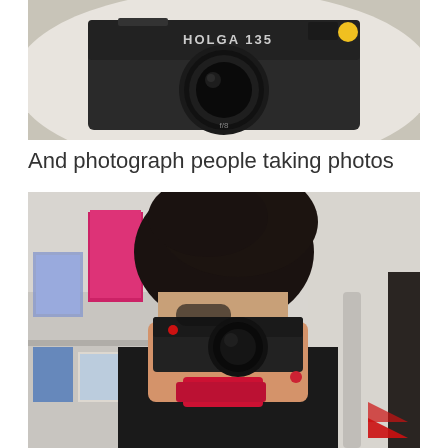[Figure (photo): A Holga 135 black film camera sitting on a white surface, viewed from front showing the lens and branded text 'HOLGA 135' on top, with a small yellow sticker on the top right corner.]
And photograph people taking photos
[Figure (photo): A person with dark messy hair holding a Leica camera up to their face, obscuring most of their face. They are wearing a black top and a bright red scarf. In the background are shelves with photos, a pink/magenta folder, and a white wall. A red chevron/arrow icon appears in the bottom right corner of the image.]